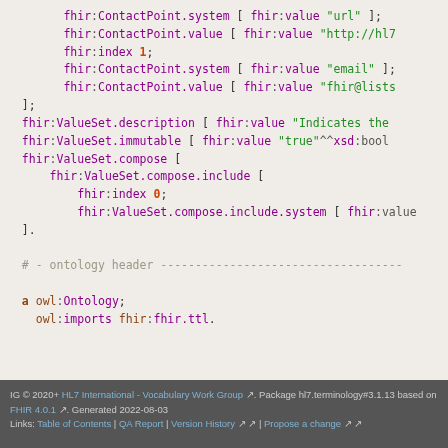fhir:ContactPoint.system [ fhir:value "url" ];
fhir:ContactPoint.value [ fhir:value "http://hl7..."
fhir:index 1;
fhir:ContactPoint.system [ fhir:value "email" ];
fhir:ContactPoint.value [ fhir:value "fhir@lists..."
];
fhir:ValueSet.description [ fhir:value "Indicates the..."
fhir:ValueSet.immutable [ fhir:value "true"^^xsd:bool...
fhir:ValueSet.compose [
  fhir:ValueSet.compose.include [
    fhir:index 0;
    fhir:ValueSet.compose.include.system [ fhir:value...
  ].

# - ontology header -----------------------------------

  a owl:Ontology;
    owl:imports fhir:fhir.ttl.
IG © 2020+ HL7 International - Vocabulary Work Group. Package hl7.terminology#3.1.13 based on FHIR 4.0.1. Generated 2022-08-03 Links: Table of Contents | QA Report | Version History | Propose a change